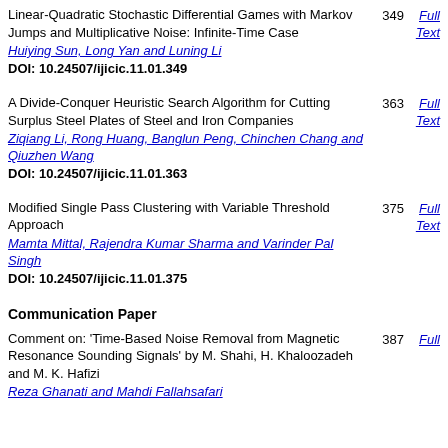Linear-Quadratic Stochastic Differential Games with Markov Jumps and Multiplicative Noise: Infinite-Time Case
349
Huiying Sun, Long Yan and Luning Li
Full Text
DOI: 10.24507/ijicic.11.01.349
A Divide-Conquer Heuristic Search Algorithm for Cutting Surplus Steel Plates of Steel and Iron Companies
363
Ziqiang Li, Rong Huang, Banglun Peng, Chinchen Chang and Qiuzhen Wang
Full Text
DOI: 10.24507/ijicic.11.01.363
Modified Single Pass Clustering with Variable Threshold Approach
375
Mamta Mittal, Rajendra Kumar Sharma and Varinder Pal Singh
Full Text
DOI: 10.24507/ijicic.11.01.375
Communication Paper
Comment on: 'Time-Based Noise Removal from Magnetic Resonance Sounding Signals' by M. Shahi, H. Khaloozadeh and M. K. Hafizi
387
Reza Ghanati and Mahdi Fallahsafari
Full